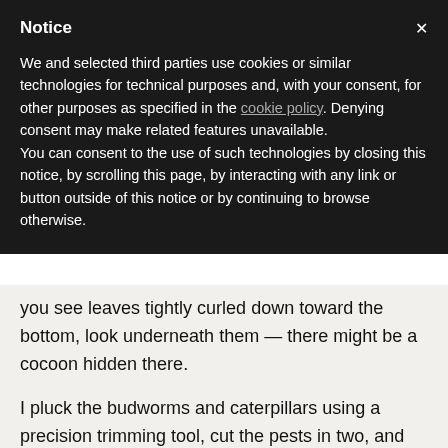Notice
We and selected third parties use cookies or similar technologies for technical purposes and, with your consent, for other purposes as specified in the cookie policy. Denying consent may make related features unavailable.
You can consent to the use of such technologies by closing this notice, by scrolling this page, by interacting with any link or button outside of this notice or by continuing to browse otherwise.
you see leaves tightly curled down toward the bottom, look underneath them — there might be a cocoon hidden there.
I pluck the budworms and caterpillars using a precision trimming tool, cut the pests in two, and throw them far away out of my garden. Next, I cut away the area where the pest was found and use a foliar sprayer, similar to what people use on orchids for misting, or compressed air to wash garbage out of the wound.